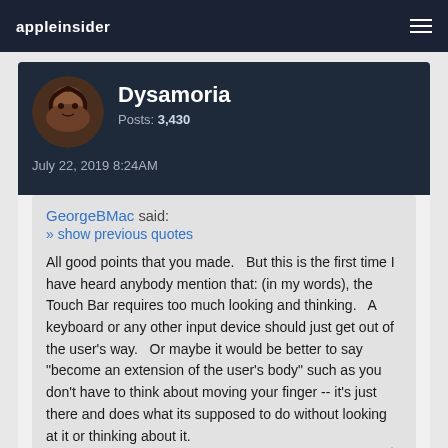appleinsider
Dysamoria
Posts: 3,430
July 22, 2019 8:24AM
GeorgeBMac said:
» show previous quotes
All good points that you made.   But this is the first time I have heard anybody mention that: (in my words), the Touch Bar requires too much looking and thinking.   A keyboard or any other input device should just get out of the user's way.   Or maybe it would be better to say "become an extension of the user's body" such as you don't have to think about moving your finger -- it's just there and does what its supposed to do without looking at it or thinking about it.